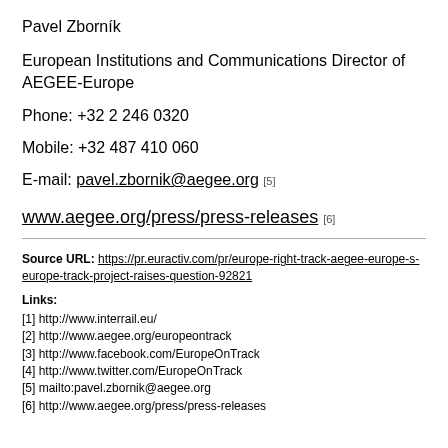Pavel Zborník
European Institutions and Communications Director of AEGEE-Europe
Phone: +32 2 246 0320
Mobile: +32 487 410 060
E-mail: pavel.zbornik@aegee.org [5]
www.aegee.org/press/press-releases [6]
Source URL: https://pr.euractiv.com/pr/europe-right-track-aegee-europe-s-europe-track-project-raises-question-92821
Links:
[1] http://www.interrail.eu/
[2] http://www.aegee.org/europeontrack
[3] http://www.facebook.com/EuropeOnTrack
[4] http://www.twitter.com/EuropeOnTrack
[5] mailto:pavel.zbornik@aegee.org
[6] http://www.aegee.org/press/press-releases